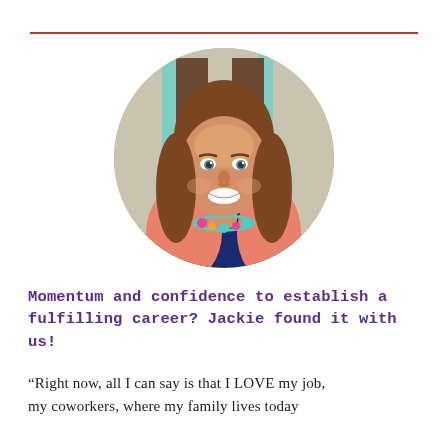[Figure (photo): Circular cropped headshot photo of a young smiling woman with long brown hair, wearing a pink cardigan over a navy top and a colorful beaded necklace, standing in front of a teal-framed wooden door]
Momentum and confidence to establish a fulfilling career? Jackie found it with us!
“Right now, all I can say is that I LOVE my job, my coworkers, where my family lives today